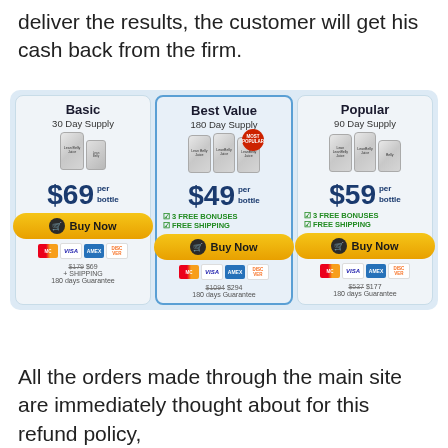deliver the results, the customer will get his cash back from the firm.
[Figure (infographic): Three pricing cards side by side: Basic (30 Day Supply, $69/bottle, Buy Now, payment icons, $179 $69 + SHIPPING, 180 days Guarantee), Best Value (180 Day Supply, $49/bottle, 3 FREE BONUSES, FREE SHIPPING, Buy Now, payment icons, $1094 $294, 180 days Guarantee), Popular (90 Day Supply, $59/bottle, 3 FREE BONUSES, FREE SHIPPING, Buy Now, payment icons, $537 $177, 180 days Guarantee)]
All the orders made through the main site are immediately thought about for this refund policy,